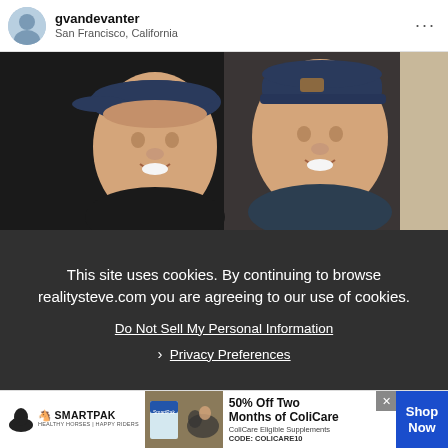gvandevanter San Francisco, California
[Figure (photo): Two young men smiling, both wearing dark baseball caps, one facing backward, posing together indoors against a dark background]
This site uses cookies. By continuing to browse realitysteve.com you are agreeing to our use of cookies.
Do Not Sell My Personal Information
› Privacy Preferences
[Figure (infographic): SmartPak advertisement banner: 50% Off Two Months of ColiCare, ColiCare Eligible Supplements, CODE: COLICARE10, Shop Now]